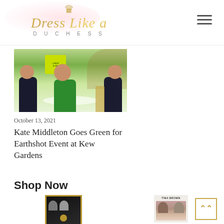[Figure (logo): Dress Like a Duchess logo with gold crown icon, gold italic script text 'Dress Like a Duchess', and gray spaced subtitle 'DUCHESS' beneath, on pink watercolor background]
[Figure (photo): Photo of Kate Middleton in a green dress laughing with two boys in dark suits at a table, with a yellow Earthshot sign in the background at Kew Gardens]
October 13, 2021
Kate Middleton Goes Green for Earthshot Event at Kew Gardens
Shop Now
[Figure (photo): Book cover with dark background showing two faces (Harry and Meghan) with gold circular emblem, bordered by gold frame]
[Figure (photo): Book cover by Tina Brown showing royal family women portrait on cover]